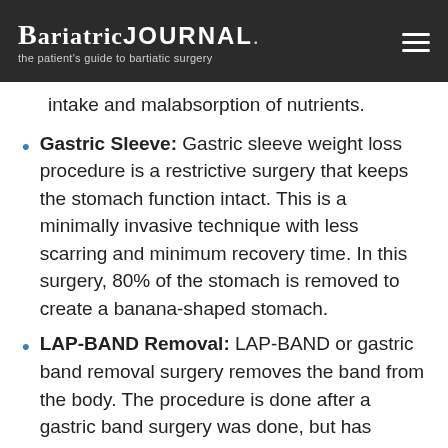BariatricJOURNAL the patient's guide to bartiatic surgery
intake and malabsorption of nutrients.
Gastric Sleeve: Gastric sleeve weight loss procedure is a restrictive surgery that keeps the stomach function intact. This is a minimally invasive technique with less scarring and minimum recovery time. In this surgery, 80% of the stomach is removed to create a banana-shaped stomach.
LAP-BAND Removal: LAP-BAND or gastric band removal surgery removes the band from the body. The procedure is done after a gastric band surgery was done, but has caused some problems to the patient. The band may be tightened by adding saline. A gastric band is